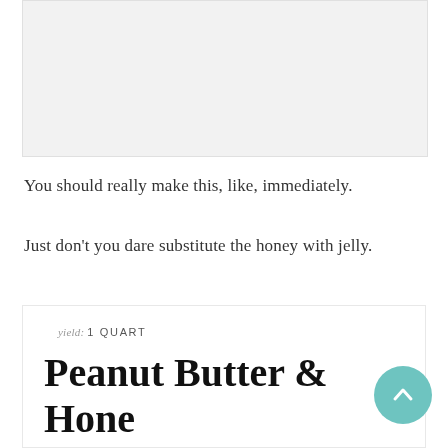[Figure (photo): Photo placeholder area showing a light gray box, likely an image of peanut butter and honey ice cream]
You should really make this, like, immediately.
Just don't you dare substitute the honey with jelly.
yield: 1 QUART
Peanut Butter & Honey Ice Cream